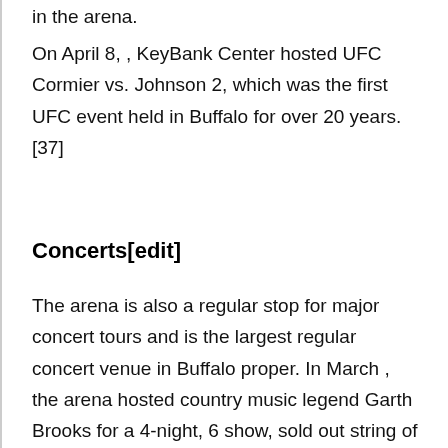in the arena.
On April 8, , KeyBank Center hosted UFC Cormier vs. Johnson 2, which was the first UFC event held in Buffalo for over 20 years. [37]
Concerts[edit]
The arena is also a regular stop for major concert tours and is the largest regular concert venue in Buffalo proper. In March , the arena hosted country music legend Garth Brooks for a 4-night, 6 show, sold out string of shows, bringing over , people to Downtown Buffalo. He also had his wife